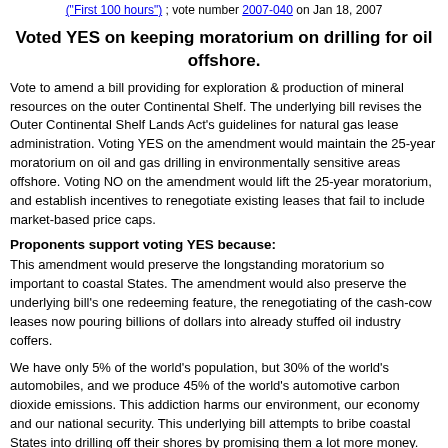("First 100 hours") ; vote number 2007-040 on Jan 18, 2007
Voted YES on keeping moratorium on drilling for oil offshore.
Vote to amend a bill providing for exploration & production of mineral resources on the outer Continental Shelf. The underlying bill revises the Outer Continental Shelf Lands Act's guidelines for natural gas lease administration. Voting YES on the amendment would maintain the 25-year moratorium on oil and gas drilling in environmentally sensitive areas offshore. Voting NO on the amendment would lift the 25-year moratorium, and establish incentives to renegotiate existing leases that fail to include market-based price caps.
Proponents support voting YES because:
This amendment would preserve the longstanding moratorium so important to coastal States. The amendment would also preserve the underlying bill's one redeeming feature, the renegotiating of the cash-cow leases now pouring billions of dollars into already stuffed oil industry coffers.
We have only 5% of the world's population, but 30% of the world's automobiles, and we produce 45% of the world's automotive carbon dioxide emissions. This addiction harms our environment, our economy and our national security. This underlying bill attempts to bribe coastal States into drilling off their shores by promising them a lot more money.
Opponents support voting NO because:
For 30 years, opponents of American energy have cloaked their arguments in an environmental apocalypse. They have tried to make the argument that no matter what we do, it will destroy the environment.
This amendment takes out all of the energy production. It is a callous...